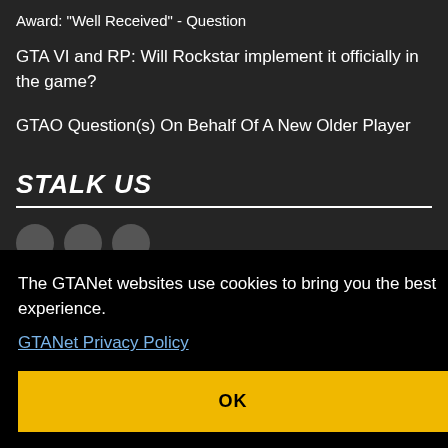Award: "Well Received" - Question
GTA VI and RP: Will Rockstar implement it officially in the game?
GTAO Question(s) On Behalf Of A New Older Player
STALK US
The GTANet websites use cookies to bring you the best experience. GTANet Privacy Policy
OK